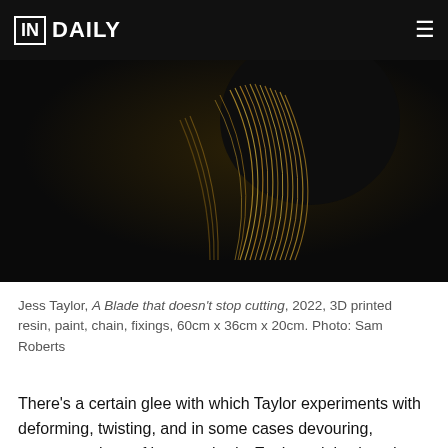INDAILY
[Figure (photo): Dark studio photograph of a sculptural artwork by Jess Taylor — multiple golden chain strands looping and hanging from a curved black form against a near-black background.]
Jess Taylor, A Blade that doesn't stop cutting, 2022, 3D printed resin, paint, chain, fixings, 60cm x 36cm x 20cm. Photo: Sam Roberts
There's a certain glee with which Taylor experiments with deforming, twisting, and in some cases devouring, representations of her own body. Each work is placed on a polished